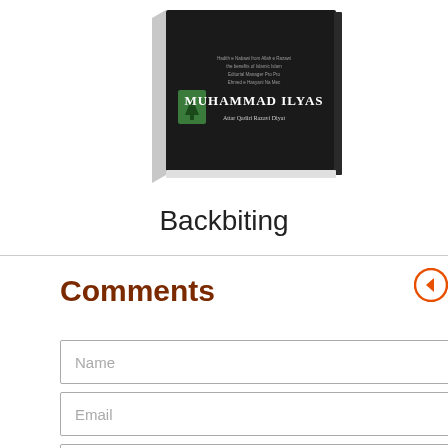[Figure (photo): Book cover with black background showing title 'Muhammad Ilyas' and author name, with a small green tree icon on cover]
Backbiting
Comments
Name input field placeholder
Email input field placeholder
Text area comment input field